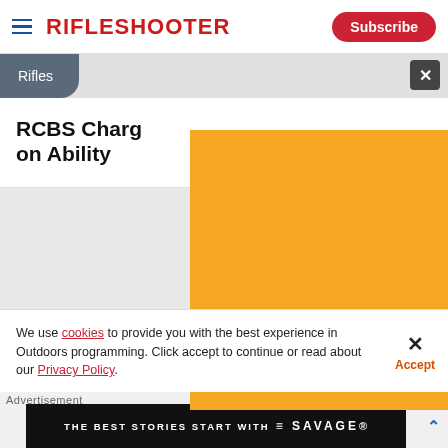RifleShooter
Rifles
RCBS Charg… on Ability
[Figure (other): Orange advertisement overlay with error code 4]
We use cookies to provide you with the best experience in Outdoors programming. Click accept to continue or read about our Privacy Policy.
[Figure (photo): Savage Arms advertisement banner: THE BEST STORIES START WITH SAVAGE]